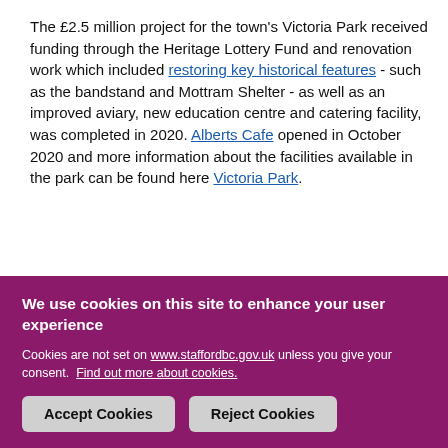The £2.5 million project for the town's Victoria Park received funding through the Heritage Lottery Fund and renovation work which included restoring key historical features - such as the bandstand and Mottram Shelter - as well as an improved aviary, new education centre and catering facility, was completed in 2020. Alberts Cafe opened in October 2020 and more information about the facilities available in the park can be found here Victoria Park.
Video of Stafford and Surrounding Villages
We use cookies on this site to enhance your user experience

Cookies are not set on www.staffordbc.gov.uk unless you give your consent. Find out more about cookies.